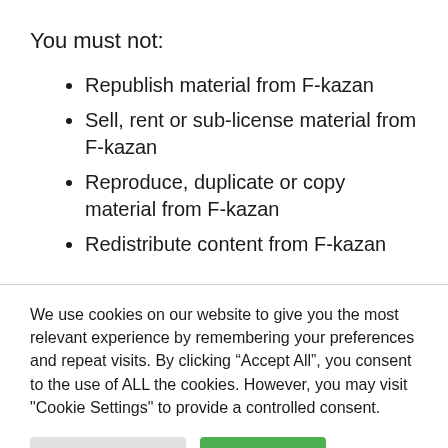You must not:
Republish material from F-kazan
Sell, rent or sub-license material from F-kazan
Reproduce, duplicate or copy material from F-kazan
Redistribute content from F-kazan
We use cookies on our website to give you the most relevant experience by remembering your preferences and repeat visits. By clicking “Accept All”, you consent to the use of ALL the cookies. However, you may visit "Cookie Settings" to provide a controlled consent.